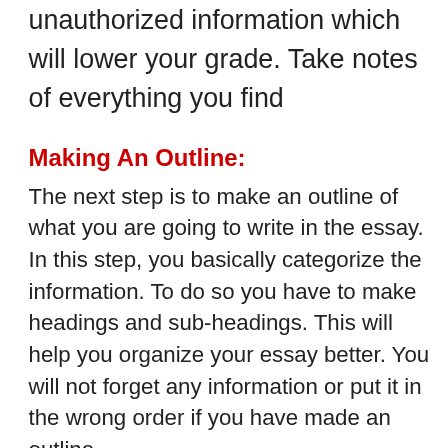unauthorized information which will lower your grade. Take notes of everything you find
Making An Outline:
The next step is to make an outline of what you are going to write in the essay. In this step, you basically categorize the information. To do so you have to make headings and sub-headings. This will help you organize your essay better. You will not forget any information or put it in the wrong order if you have made an outline.
Step#3 – How to Write an Introduction?
The introduction you write sets the tone for your essay. This is why you should write an introduction that is eye-catching for the reader.